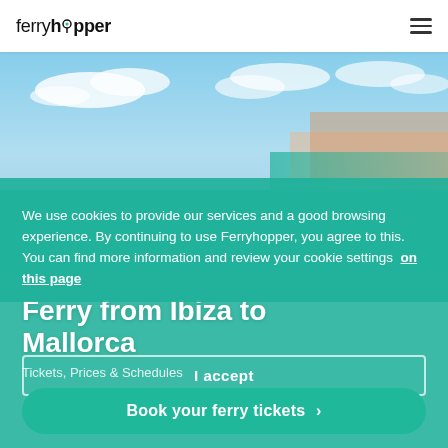[Figure (screenshot): Ferryhopper website navigation bar with logo and hamburger menu icon]
[Figure (photo): Background photo of a coastal Mediterranean city with blue sky and clouds, buildings visible]
Ferry from Ibiza to Mallorca
Tickets, Prices & Schedules
We use cookies to provide our services and a good browsing experience. By continuing to use Ferryhopper, you agree to this. You can find more information and review your cookie settings on this page
I accept
Book your ferry tickets >